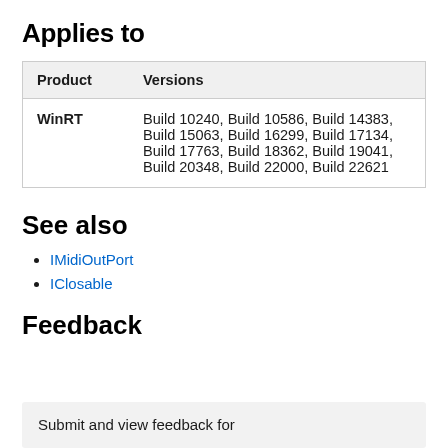Applies to
| Product | Versions |
| --- | --- |
| WinRT | Build 10240, Build 10586, Build 14383, Build 15063, Build 16299, Build 17134, Build 17763, Build 18362, Build 19041, Build 20348, Build 22000, Build 22621 |
See also
IMidiOutPort
IClosable
Feedback
Submit and view feedback for